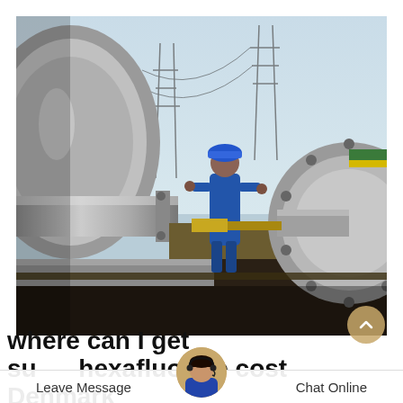[Figure (photo): Industrial worker in blue coveralls and blue hard hat operating large pipe valves and machinery at an oil or gas facility, with power line towers visible in the background. Large grey pipes and flanges dominate the foreground.]
where can I get sulfur hexafluoride cost Denmark
Leave Message   Chat Online